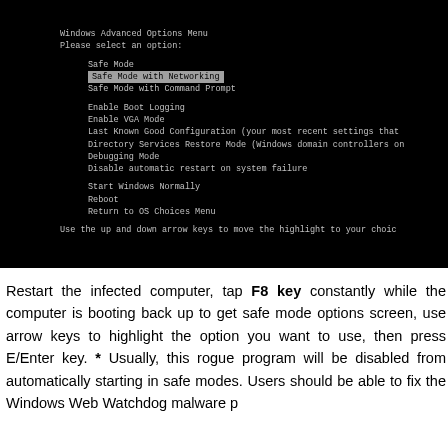[Figure (screenshot): Windows Advanced Options Menu screenshot showing Safe Mode, Safe Mode with Networking (highlighted), Safe Mode with Command Prompt, Enable Boot Logging, Enable VGA Mode, Last Known Good Configuration, Directory Services Restore Mode, Debugging Mode, Disable automatic restart on system failure, Start Windows Normally, Reboot, Return to OS Choices Menu options on a black background.]
Restart the infected computer, tap F8 key constantly while the computer is booting back up to get safe mode options screen, use arrow keys to highlight the option you want to use, then press E/Enter key. * Usually, this rogue program will be disabled from automatically starting in safe modes. Users should be able to fix the Windows Web Watchdog malware problem